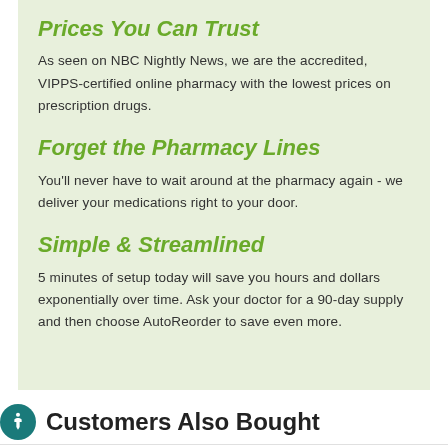Prices You Can Trust
As seen on NBC Nightly News, we are the accredited, VIPPS-certified online pharmacy with the lowest prices on prescription drugs.
Forget the Pharmacy Lines
You'll never have to wait around at the pharmacy again - we deliver your medications right to your door.
Simple & Streamlined
5 minutes of setup today will save you hours and dollars exponentially over time. Ask your doctor for a 90-day supply and then choose AutoReorder to save even more.
Customers Also Bought
Major All Day Allergy Relief Cetirizine 10mg Hcl Tablets 500ct